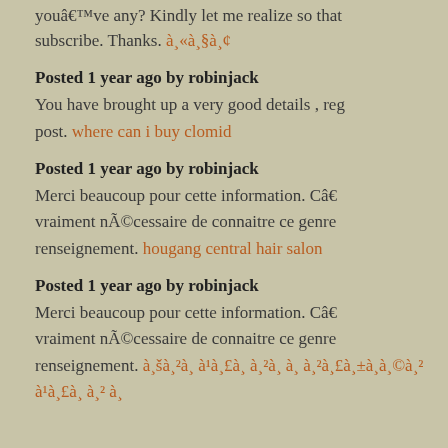youâ€™ve any? Kindly let me realize so that
subscribe. Thanks. à¸«à¸§à¸¢
Posted 1 year ago by robinjack
You have brought up a very good details , reg
post. where can i buy clomid
Posted 1 year ago by robinjack
Merci beaucoup pour cette information. Câ€
vraiment nÃ©cessaire de connaitre ce genre
renseignement. hougang central hair salon
Posted 1 year ago by robinjack
Merci beaucoup pour cette information. Câ€
vraiment nÃ©cessaire de connaitre ce genre
renseignement. à¸šà¸²à¸ à¸²à¸£à¸±à¸à¸©à¸² à¹à¸£à¸ à¸²à¸